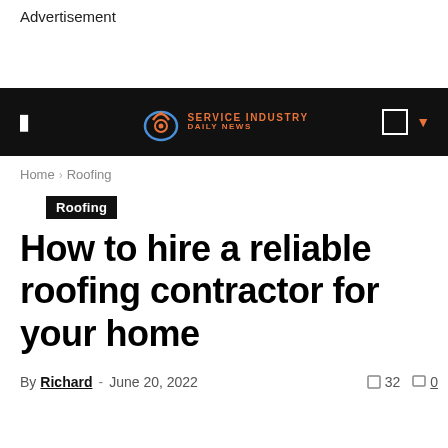Advertisement
[Figure (screenshot): Service Industry Daily News website navigation bar with logo, hamburger menu, search and dropdown icons on dark background]
Home › Roofing
Roofing
How to hire a reliable roofing contractor for your home
By Richard - June 20, 2022    32    0